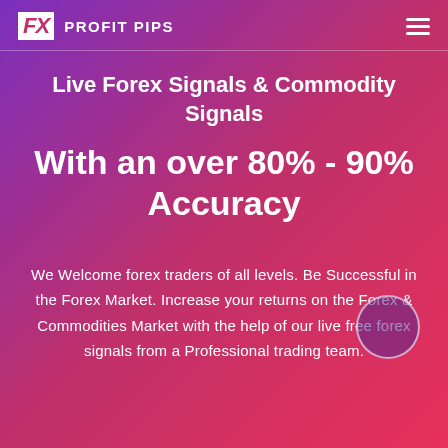FX PROFIT PIPS
Live Forex Signals & Commodity Signals
With an over 80% - 90% Accuracy
We Welcome forex traders of all levels. Be Successful in the Forex Market. Increase your returns on the Forex & Commodities Market with the help of our live free forex signals from a Professional trading team.